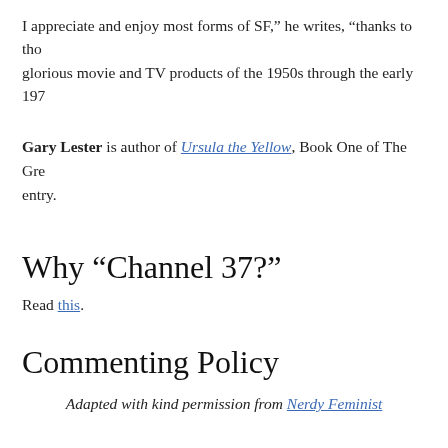I appreciate and enjoy most forms of SF," he writes, "thanks to tho glorious movie and TV products of the 1950s through the early 197
Gary Lester is author of Ursula the Yellow, Book One of The Grey entry.
Why “Channel 37?”
Read this.
Commenting Policy
Adapted with kind permission from Nerdy Feminist